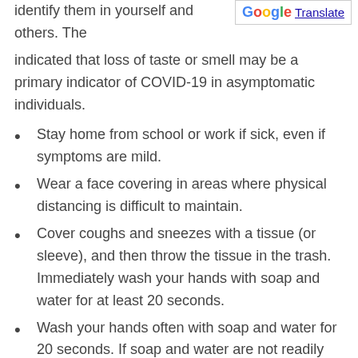identify them in yourself and others. The indicated that loss of taste or smell may be a primary indicator of COVID-19 in asymptomatic individuals.
[Figure (logo): Google Translate badge with G logo and Translate link]
Stay home from school or work if sick, even if symptoms are mild.
Wear a face covering in areas where physical distancing is difficult to maintain.
Cover coughs and sneezes with a tissue (or sleeve), and then throw the tissue in the trash. Immediately wash your hands with soap and water for at least 20 seconds.
Wash your hands often with soap and water for 20 seconds. If soap and water are not readily available, use an alcohol-based hand sanitizer that contains at least 60% alcohol.
Avoid touching the eyes, nose and mouth with unwashed hands.